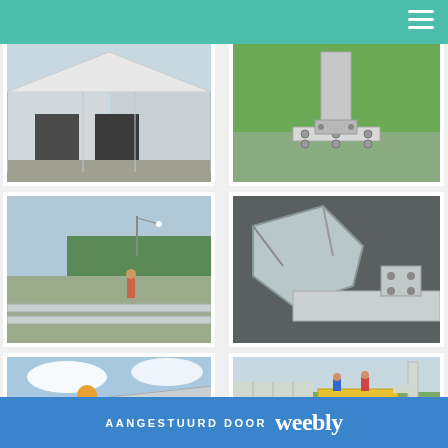[Figure (photo): White industrial tent/warehouse structure with open entrance doors]
[Figure (photo): Metal column base plate bolted to ground on grass]
[Figure (photo): Construction site with metal beams laid on grass, workers in background]
[Figure (photo): Close-up of galvanized metal brackets and hardware components]
[Figure (photo): Worker in hard hat handling a large metal tube/pipe]
[Figure (photo): Workers on a yellow scissor lift installing wall panels on a building]
AANGESTUURD DOOR weebly